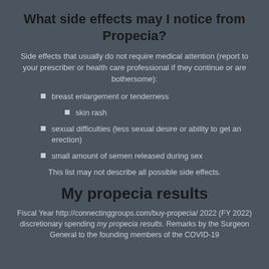What side effects may I notice from Propecia?
Side effects that usually do not require medical attention (report to your prescriber or health care professional if they continue or are bothersome):
breast enlargement or tenderness
skin rash
sexual difficulties (less sexual desire or ability to get an erection)
small amount of semen released during sex
This list may not describe all possible side effects.
My propecia results
Fiscal Year http://connectinggroups.com/buy-propecia/ 2022 (FY 2022) discretionary spending my propecia results. Remarks by the Surgeon General to the founding members of the COVID-19